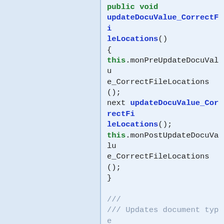public void updateDocuValue_CorrectFileLocations()
{
this.monPreUpdateDocuValue_CorrectFileLocations();
next updateDocuValue_CorrectFileLocations();
this.monPostUpdateDocuValue_CorrectFileLocations();
}

///
/// Updates document type records to handle file storage in the cloud.
///
[
UpgradeScriptDescription("Updates document type records to handle file storage in the cloud"),
UpgradeScriptStage(ReleaseUpdateScriptStage::PostSync